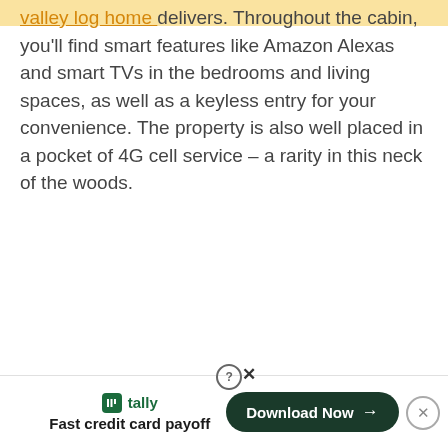valley log home delivers. Throughout the cabin, you'll find smart features like Amazon Alexas and smart TVs in the bedrooms and living spaces, as well as a keyless entry for your convenience. The property is also well placed in a pocket of 4G cell service – a rarity in this neck of the woods.
[Figure (other): Tally app advertisement banner at bottom of page. Shows Tally logo with green icon, tagline 'Fast credit card payoff', a 'Download Now' button with arrow, help/info button, close button, and dismiss circle button.]